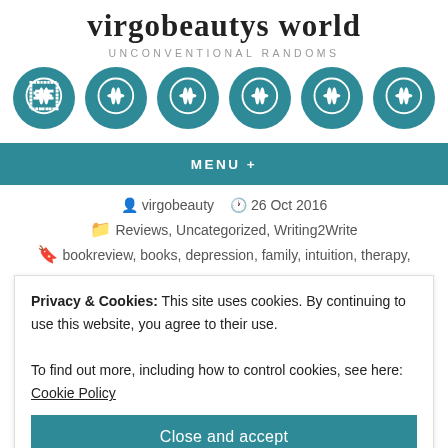virgobeautys world
UNCONVENTIONAL RANDOMS
[Figure (logo): Six teal circular WordPress logo icons in a row]
MENU +
virgobeauty   26 Oct 2016
Reviews, Uncategorized, Writing2Write
bookreview, books, depression, family, intuition, therapy,
Privacy & Cookies: This site uses cookies. By continuing to use this website, you agree to their use.
To find out more, including how to control cookies, see here: Cookie Policy
Close and accept
[Figure (photo): Partial book cover image showing text 'Exit the']